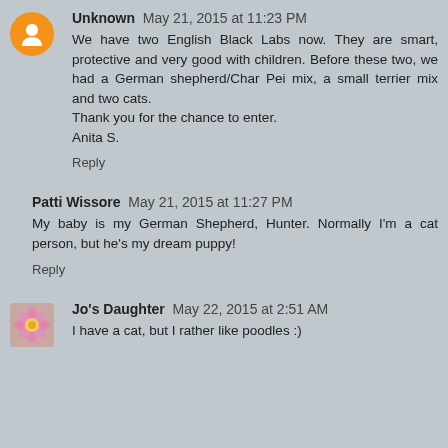Unknown  May 21, 2015 at 11:23 PM
We have two English Black Labs now. They are smart, protective and very good with children. Before these two, we had a German shepherd/Char Pei mix, a small terrier mix and two cats.
Thank you for the chance to enter.
Anita S.
Reply
Patti Wissore  May 21, 2015 at 11:27 PM
My baby is my German Shepherd, Hunter. Normally I'm a cat person, but he's my dream puppy!
Reply
Jo's Daughter  May 22, 2015 at 2:51 AM
I have a cat, but I rather like poodles :)